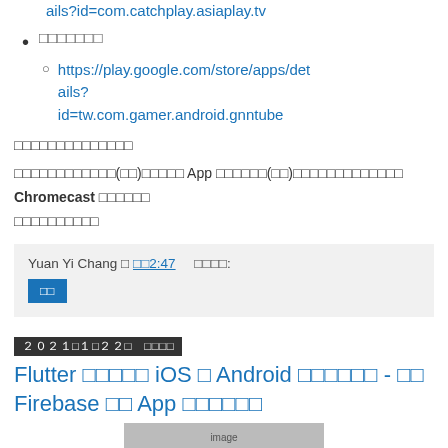ails?id=com.catchplay.asiaplay.tv
xxxxxxx
https://play.google.com/store/apps/details?id=tw.com.gamer.android.gnntube
xxxxxxxxxxxxxx
xxxxxxxxxxxx(xx)xxxxx App xxxxxx(xx)xxxxxxxxxxxxxxxxx Chromecast xxxxxxx xxxxxxxxxx
Yuan Yi Chang x xx2:47   xxxx:
xx
2021x1x22x  xxxx
Flutter xxxxx iOS x Android xxxxxx - xx Firebase xx App xxxxxx